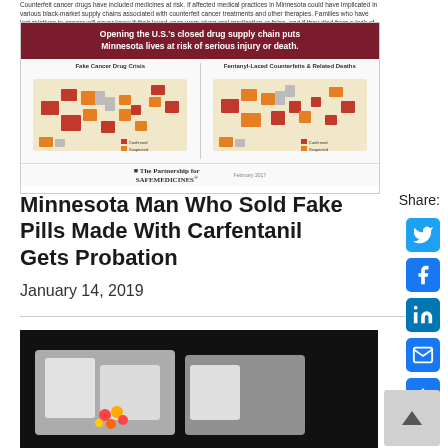Counterfeit cancer drugs have included medicines at risk. If affected medical practices in Minnesota could have implicated in various black-market supply chains associated with counterfeit cancer treatments and other therapies. Families who have lost relatives to cancer will never know if their loved ones were given real medication or false, and if they died from a lack of treatment.
[Figure (map): Infographic titled 'Opening the U.S.'s closed drug supply chain puts Minnesota lives at risk of serious injury or death.' Shows two US maps side by side: left map labeled 'Fake Cancer Drug Crisis' and right map labeled 'Fentanyl-Laced Counterfeits & Related Deaths', with states colored in red, orange/gold, and gray. Footer shows Partnership for Safe Medicines logo.]
Minnesota Man Who Sold Fake Pills Made With Carfentanil Gets Probation
January 14, 2019
[Figure (photo): Photo of plastic containers with pills and bags inside, on a dark background.]